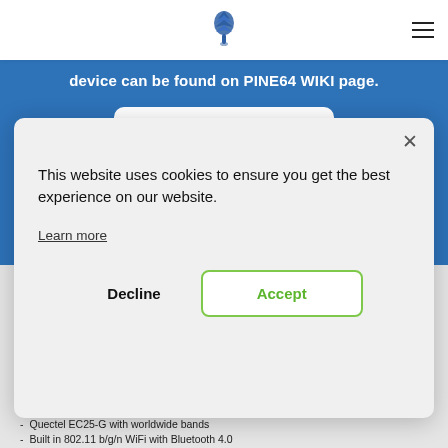PINE64 logo and navigation hamburger menu
device can be found on PINE64 WIKI page.
[Figure (screenshot): Click Here button with Wikipedia W icon on blue background]
Full specifications
This website uses cookies to ensure you get the best experience on our website.
Learn more
Decline
Accept
Quectel EC25-G with worldwide bands
Built in 802.11 b/g/n WiFi with Bluetooth 4.0